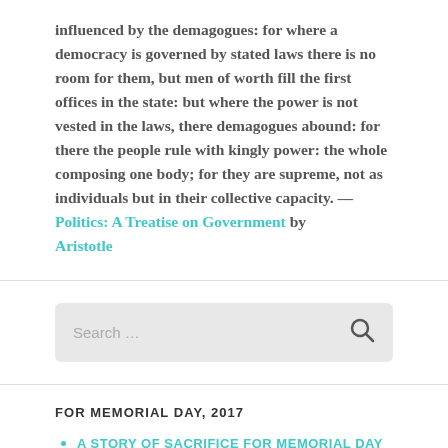influenced by the demagogues: for where a democracy is governed by stated laws there is no room for them, but men of worth fill the first offices in the state: but where the power is not vested in the laws, there demagogues abound: for there the people rule with kingly power: the whole composing one body; for they are supreme, not as individuals but in their collective capacity. — Politics: A Treatise on Government by Aristotle
[Figure (screenshot): Search input box with placeholder text 'Search ...' and a search icon on the right]
FOR MEMORIAL DAY, 2017
A STORY OF SACRIFICE FOR MEMORIAL DAY
MEMORIAL DAY IS ABOUT REMEMBERING WHY THEY FOUGHT